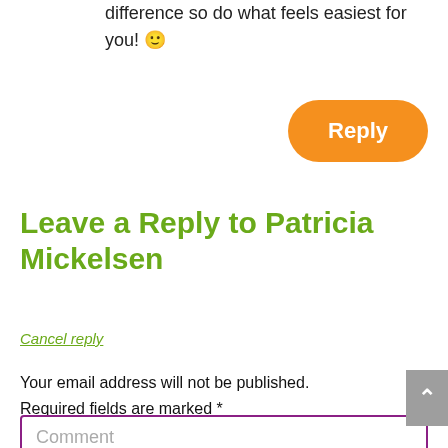difference so do what feels easiest for you! 🙂
[Figure (other): Orange rounded 'Reply' button]
Leave a Reply to Patricia Mickelsen
Cancel reply
Your email address will not be published. Required fields are marked *
[Figure (other): Comment text input field with purple border]